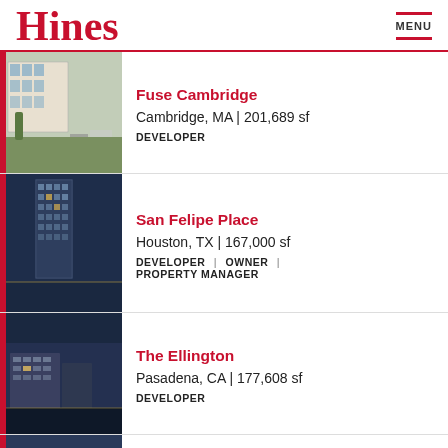Hines | MENU
Fuse Cambridge
Cambridge, MA | 201,689 sf
DEVELOPER
San Felipe Place
Houston, TX | 167,000 sf
DEVELOPER | OWNER | PROPERTY MANAGER
The Ellington
Pasadena, CA | 177,608 sf
DEVELOPER